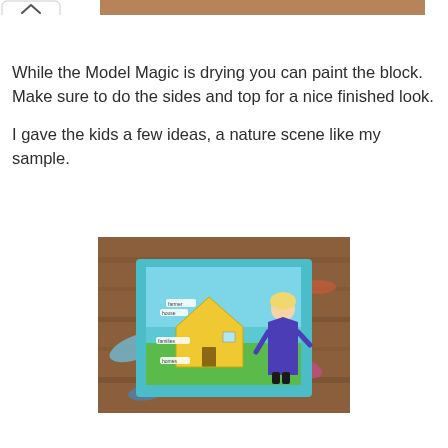[Figure (screenshot): Top portion of a webpage showing a back/collapse button and partial photo at the top]
While the Model Magic is drying you can paint the block. Make sure to do the sides and top for a nice finished look.

I gave the kids a few ideas, a nature scene like my sample.
[Figure (photo): Photo of a child's art project showing a figure in a purple dress standing next to a yellow house on a blue and green painted block, placed on a wooden surface with colorful paint marks]